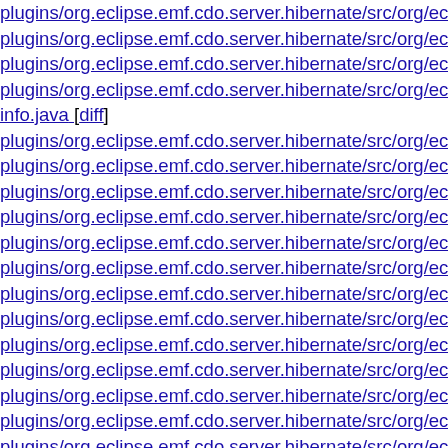plugins/org.eclipse.emf.cdo.server.hibernate/src/org/eclipse/emf/co
plugins/org.eclipse.emf.cdo.server.hibernate/src/org/eclipse/emf/co
plugins/org.eclipse.emf.cdo.server.hibernate/src/org/eclipse/emf/co
plugins/org.eclipse.emf.cdo.server.hibernate/src/org/eclipse/emf/co
info.java [diff]
plugins/org.eclipse.emf.cdo.server.hibernate/src/org/eclipse/emf/co
plugins/org.eclipse.emf.cdo.server.hibernate/src/org/eclipse/emf/co
plugins/org.eclipse.emf.cdo.server.hibernate/src/org/eclipse/emf/co
plugins/org.eclipse.emf.cdo.server.hibernate/src/org/eclipse/emf/co
plugins/org.eclipse.emf.cdo.server.hibernate/src/org/eclipse/emf/co
plugins/org.eclipse.emf.cdo.server.hibernate/src/org/eclipse/emf/co
plugins/org.eclipse.emf.cdo.server.hibernate/src/org/eclipse/emf/co
plugins/org.eclipse.emf.cdo.server.hibernate/src/org/eclipse/emf/co
plugins/org.eclipse.emf.cdo.server.hibernate/src/org/eclipse/emf/co
plugins/org.eclipse.emf.cdo.server.hibernate/src/org/eclipse/emf/co
plugins/org.eclipse.emf.cdo.server.hibernate/src/org/eclipse/emf/co
plugins/org.eclipse.emf.cdo.server.hibernate/src/org/eclipse/emf/co
plugins/org.eclipse.emf.cdo.server.hibernate/src/org/eclipse/emf/co
plugins/org.eclipse.emf.cdo.server.hibernate/src/org/eclipse/emf/co
plugins/org.eclipse.emf.cdo.server.hibernate/src/org/eclipse/emf/co